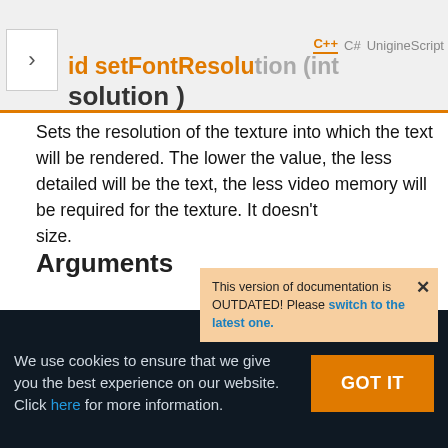void setFontResolution ( int resolution )
Sets the resolution of the texture into which the text will be rendered. The lower the value, the less detailed will be the text, the less video memory will be required for the texture. It doesn't affect the actual font size.
[Figure (screenshot): Outdated documentation popup: 'This version of documentation is OUTDATED! Please switch to the latest one.' with a close X button]
Arguments
We use cookies to ensure that we give you the best experience on our website. Click here for more information.